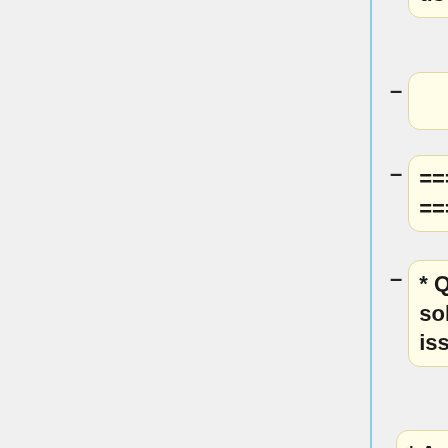use]] etc.
=== existing issues ===
* Q: Do you try to solve some existing issues?
* A: We have discussed existing issues in some past meetups. Often divisive or controversial topics are much easier to discuss and understand multiple